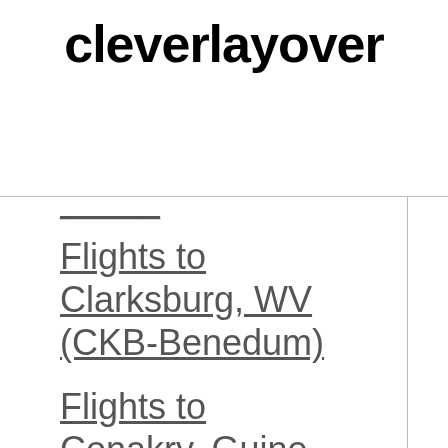cleverlayover
Flights to Clarksburg, WV (CKB-Benedum)
Flights to Conakry, Guinea